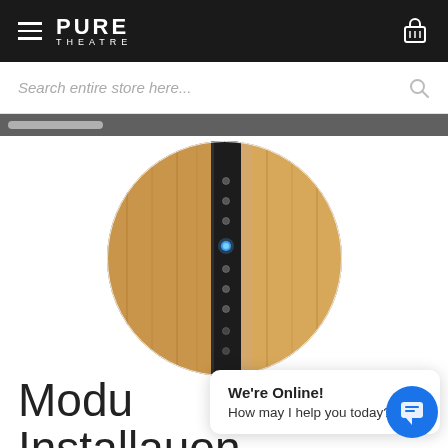PURE THEATRE
Search entire store here...
[Figure (photo): Close-up circular cropped photo of a wooden panel with a black vertical strip/column showing small LED indicator lights, one glowing blue.]
Modu
Installation
We're Online!
How may I help you today?